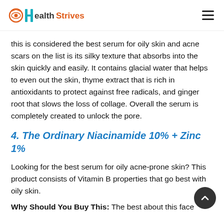HealthStrives
this is considered the best serum for oily skin and acne scars on the list is its silky texture that absorbs into the skin quickly and easily. It contains glacial water that helps to even out the skin, thyme extract that is rich in antioxidants to protect against free radicals, and ginger root that slows the loss of collage. Overall the serum is completely created to unlock the pore.
4. The Ordinary Niacinamide 10% + Zinc 1%
Looking for the best serum for oily acne-prone skin? This product consists of Vitamin B properties that go best with oily skin.
Why Should You Buy This: The best about this face